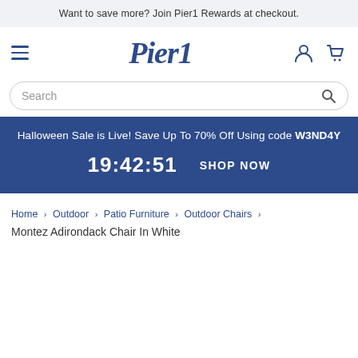Want to save more? Join Pier1 Rewards at checkout.
[Figure (logo): Pier1 logo in dark blue serif italic font, with hamburger menu icon on left and user/cart icons on right]
Search
Halloween Sale is Live! Save Up To 70% Off Using code W3ND4Y
19:42:51   SHOP NOW
Home > Outdoor > Patio Furniture > Outdoor Chairs >
Montez Adirondack Chair In White